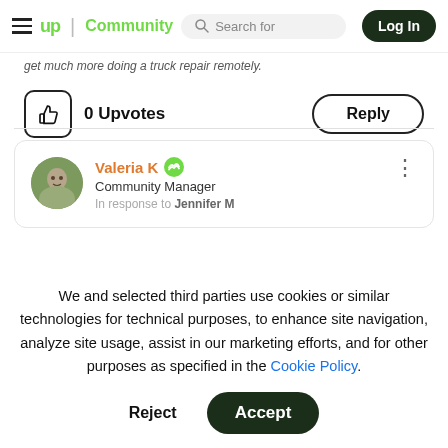≡ up | Community   Search for   Log In
get much more doing a truck repair remotely.
0 Upvotes   Reply
Valeria K  Community Manager  In response to Jennifer M
We and selected third parties use cookies or similar technologies for technical purposes, to enhance site navigation, analyze site usage, assist in our marketing efforts, and for other purposes as specified in the Cookie Policy.
Accept
Reject